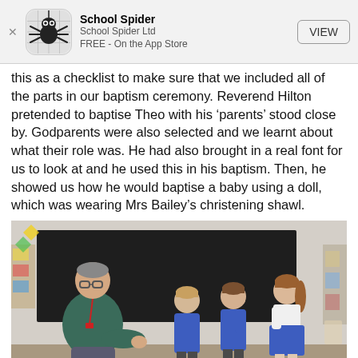[Figure (screenshot): App Store banner for School Spider app. Shows spider icon, 'School Spider' name, 'School Spider Ltd', 'FREE - On the App Store', and a VIEW button.]
this as a checklist to make sure that we included all of the parts in our baptism ceremony. Reverend Hilton pretended to baptise Theo with his ‘parents’ stood close by. Godparents were also selected and we learnt about what their role was. He had also brought in a real font for us to look at and he used this in his baptism. Then, he showed us how he would baptise a baby using a doll, which was wearing Mrs Bailey’s christening shawl.
[Figure (photo): Photograph of a man (Reverend Hilton) sitting and talking to three young school children in blue uniforms inside a classroom with a dark board in the background.]